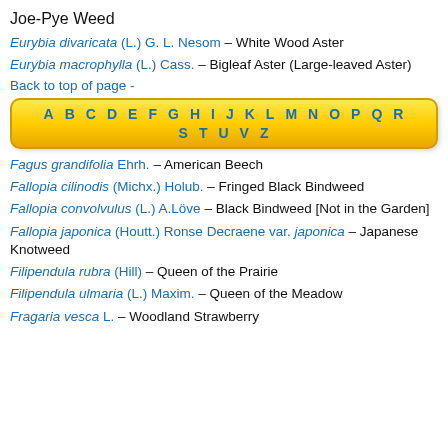Joe-Pye Weed
Eurybia divaricata (L.) G. L. Nesom – White Wood Aster
Eurybia macrophylla (L.) Cass. – Bigleaf Aster (Large-leaved Aster)
Back to top of page -
[Figure (other): Alphabetical navigation box with letters A-Z on yellow gradient background]
Fagus grandifolia Ehrh. – American Beech
Fallopia cilinodis (Michx.) Holub. – Fringed Black Bindweed
Fallopia convolvulus (L.) A.Löve – Black Bindweed [Not in the Garden]
Fallopia japonica (Houtt.) Ronse Decraene var. japonica – Japanese Knotweed
Filipendula rubra (Hill) – Queen of the Prairie
Filipendula ulmaria (L.) Maxim. – Queen of the Meadow
Fragaria vesca L. – Woodland Strawberry